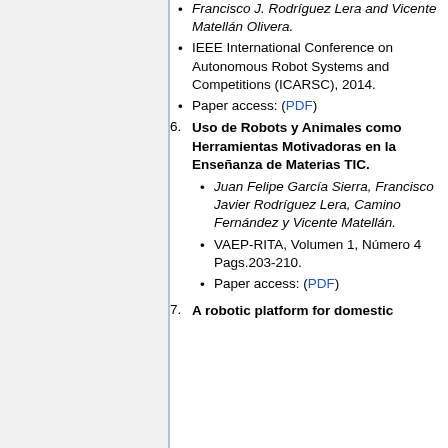Francisco J. Rodríguez Lera and Vicente Matellán Olivera.
IEEE International Conference on Autonomous Robot Systems and Competitions (ICARSC), 2014.
Paper access: (PDF)
6. Uso de Robots y Animales como Herramientas Motivadoras en la Enseñanza de Materias TIC.
Juan Felipe García Sierra, Francisco Javier Rodríguez Lera, Camino Fernández y Vicente Matellán.
VAEP-RITA, Volumen 1, Número 4 Pags.203-210.
Paper access: (PDF)
7. A robotic platform for domestic